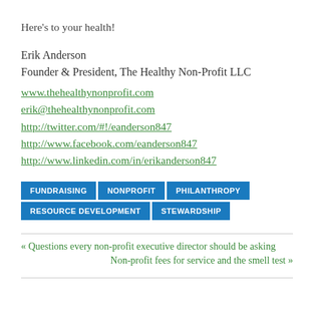Here's to your health!
Erik Anderson
Founder & President, The Healthy Non-Profit LLC
www.thehealthynonprofit.com
erik@thehealthynonprofit.com
http://twitter.com/#!/eanderson847
http://www.facebook.com/eanderson847
http://www.linkedin.com/in/erikanderson847
FUNDRAISING
NONPROFIT
PHILANTHROPY
RESOURCE DEVELOPMENT
STEWARDSHIP
« Questions every non-profit executive director should be asking
Non-profit fees for service and the smell test »